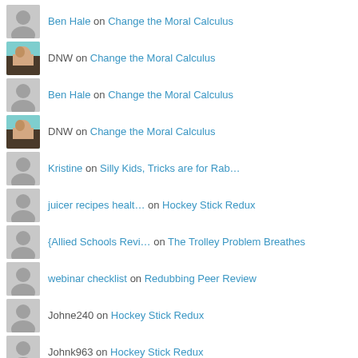Ben Hale on Change the Moral Calculus
DNW on Change the Moral Calculus
Ben Hale on Change the Moral Calculus
DNW on Change the Moral Calculus
Kristine on Silly Kids, Tricks are for Rab…
juicer recipes healt… on Hockey Stick Redux
{Allied Schools Revi… on The Trolley Problem Breathes
webinar checklist on Redubbing Peer Review
Johne240 on Hockey Stick Redux
Johnk963 on Hockey Stick Redux
Johne45 on Hockey Stick Redux